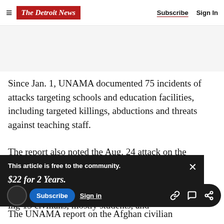The Detroit News | Subscribe | Sign In
Since Jan. 1, UNAMA documented 75 incidents of attacks targeting schools and education facilities, including targeted killings, abductions and threats against teaching staff.
The report also noted the Aug. 24 attack on the
This article is free to the community.
$22 for 2 Years.
Subscribe now
ing 13 civilians, mostly students, and
The UNAMA report on the Afghan civilian